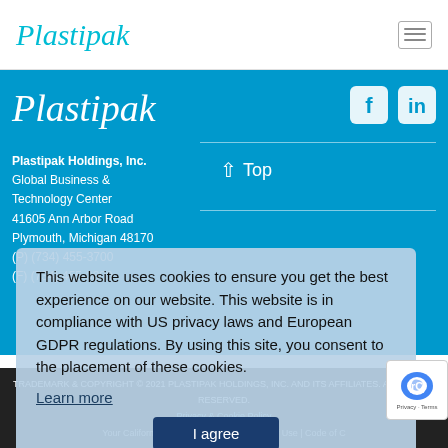Plastipak
[Figure (logo): Plastipak logo in blue cursive script on blue background with Facebook and LinkedIn social media icons]
Plastipak Holdings, Inc.
Global Business & Technology Center
41605 Ann Arbor Road
Plymouth, Michigan 48170
(P) (734) 455-3700
(F) (734) 455-3800
↑ Top
This website uses cookies to ensure you get the best experience on our website. This website is in compliance with US privacy laws and European GDPR regulations. By using this site, you consent to the placement of these cookies.
Learn more
I agree
Privacy & Cookie Policy
TRADEMARK & COPYRIGHT © 2021 PLASTIPAK HOLDINGS, INC. AND ITS AFFILIATES. ALL RIGHTS RESERVED.
Your California Privacy Disclosure | Terms of Use | Code of C… | Get in Touch